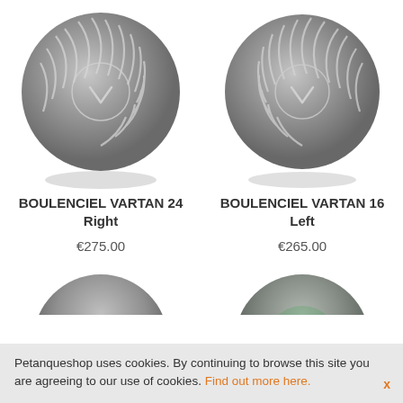[Figure (photo): Gray pétanque ball with swirl/stripe pattern and Boulenciel logo - VARTAN 24 Right]
BOULENCIEL VARTAN 24
Right
€275.00
[Figure (photo): Gray pétanque ball with swirl/stripe pattern and Boulenciel logo - VARTAN 16 Left]
BOULENCIEL VARTAN 16
Left
€265.00
[Figure (photo): Partial view of gray pétanque ball at bottom left]
[Figure (photo): Partial view of colorful pétanque ball at bottom right]
Petanqueshop uses cookies. By continuing to browse this site you are agreeing to our use of cookies. Find out more here.